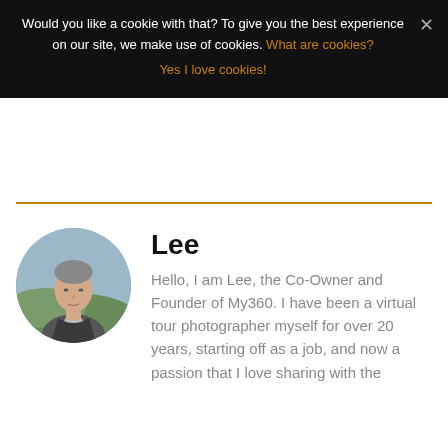Would you like a cookie with that? To give you the best experience on our site, we make use of cookies. What are cookies?
Yes I love cookies!
[Figure (photo): Circular portrait photo of Lee, a middle-aged man in a grey jacket outdoors with a mountainous landscape in the background.]
Lee
Hello, I am Lee, the Co-Owner and Founder of My360. I have been a virtual tour photographer myself for over 20 years, starting off as a job, and now a passion that I love sharing with the...